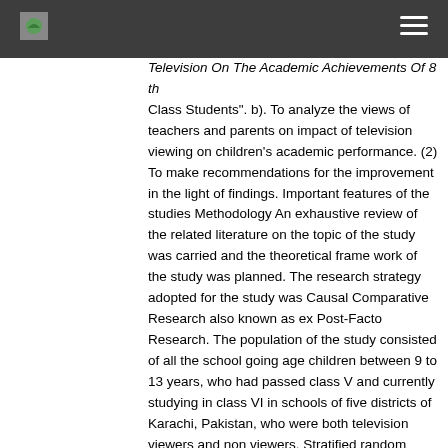Television On The Academic Achievements Of 8 th Class Students". b). To analyze the views of teachers and parents on impact of television viewing on children's academic performance. (2) To make recommendations for the improvement in the light of findings. Important features of the studies Methodology An exhaustive review of the related literature on the topic of the study was carried and the theoretical frame work of the study was planned. The research strategy adopted for the study was Causal Comparative Research also known as ex Post-Facto Research. The population of the study consisted of all the school going age children between 9 to 13 years, who had passed class V and currently studying in class VI in schools of five districts of Karachi, Pakistan, who were both television viewers and non viewers. Stratified random sampling designs were used to draw various samples. The total size of the sample was kept at 260. Two tailored-made research instruments were developed: 1) a